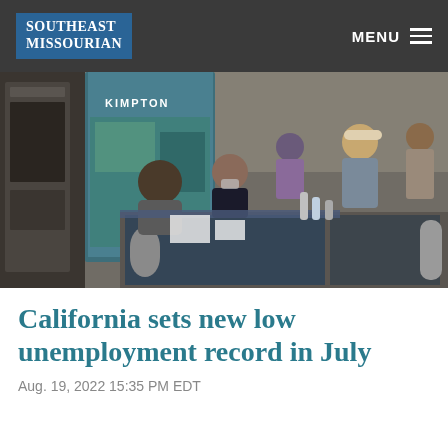SOUTHEAST MISSOURIAN | MENU
[Figure (photo): Job fair scene with people at booths including a Kimpton branded display. People wearing masks are interacting with recruiters at tables covered with blue tablecloths, with supplies and materials on the tables.]
California sets new low unemployment record in July
Aug. 19, 2022 15:35 PM EDT